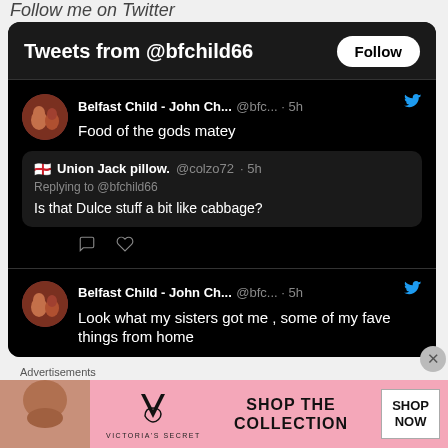Follow me on Twitter
Tweets from @bfchild66
Belfast Child - John Ch... @bfc... · 5h
Food of the gods matey
🏴󠁧󠁢󠁥󠁮󠁧󠁿 Union Jack pillow. @colzo72 · 5h
Replying to @bfchild66
Is that Dulce stuff a bit like cabbage?
Belfast Child - John Ch... @bfc... · 5h
Look what my sisters got me , some of my fave things from home
Advertisements
[Figure (screenshot): Victoria's Secret advertisement banner with SHOP THE COLLECTION and SHOP NOW button]